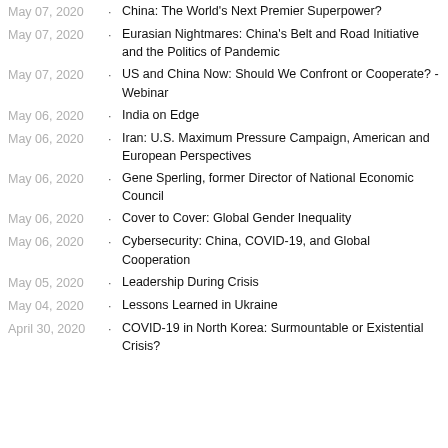May 07, 2020 · China: The World's Next Premier Superpower?
May 07, 2020 · Eurasian Nightmares: China's Belt and Road Initiative and the Politics of Pandemic
May 07, 2020 · US and China Now: Should We Confront or Cooperate? - Webinar
May 06, 2020 · India on Edge
May 06, 2020 · Iran: U.S. Maximum Pressure Campaign, American and European Perspectives
May 06, 2020 · Gene Sperling, former Director of National Economic Council
May 06, 2020 · Cover to Cover: Global Gender Inequality
May 06, 2020 · Cybersecurity: China, COVID-19, and Global Cooperation
May 05, 2020 · Leadership During Crisis
May 04, 2020 · Lessons Learned in Ukraine
April 30, 2020 · COVID-19 in North Korea: Surmountable or Existential Crisis?